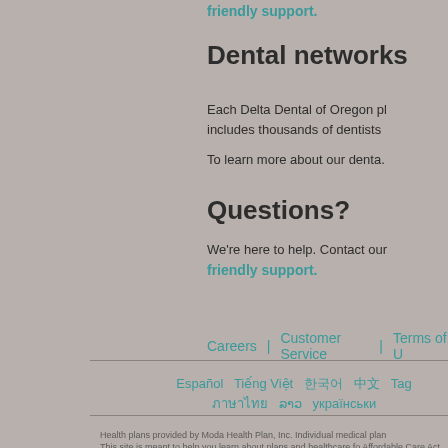friendly support.
Dental networks
Each Delta Dental of Oregon pl includes thousands of dentists
To learn more about our denta.
Questions?
We're here to help. Contact our friendly support.
Careers | Customer Service | Terms of U
Español  Tiếng Việt  한국어  中文  Tag  ภาษาไทย  ລາວ  українськи
Health plans provided by Moda Health Plan, Inc. Individual medical plan
This site is meant to help you learn about plans and healthcare fo Affordable Care Act (ACA) and related regulations, and connecti